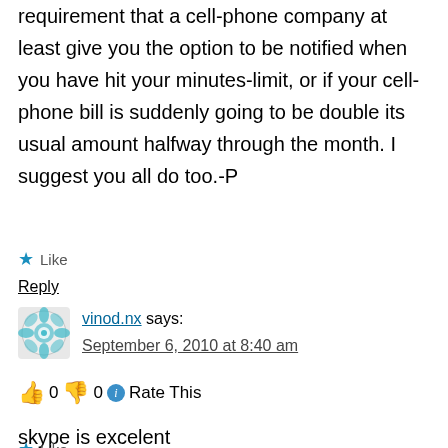requirement that a cell-phone company at least give you the option to be notified when you have hit your minutes-limit, or if your cell-phone bill is suddenly going to be double its usual amount halfway through the month. I suggest you all do too.-P
★ Like
Reply
vinod.nx says: September 6, 2010 at 8:40 am
👍 0 👎 0 ℹ Rate This
skype is excelent
★ Like